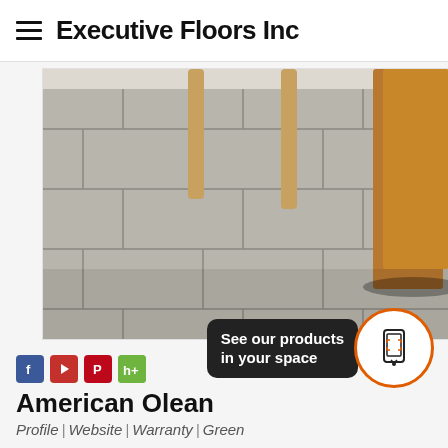Executive Floors Inc
[Figure (photo): Photo of gray ceramic tile flooring with wooden chair legs and a wooden table base in the background]
[Figure (infographic): Social media icons: Facebook, YouTube, Pinterest, and a share/houzz icon]
American Olean
See our products in your space
Profile | Website | Warranty | Green